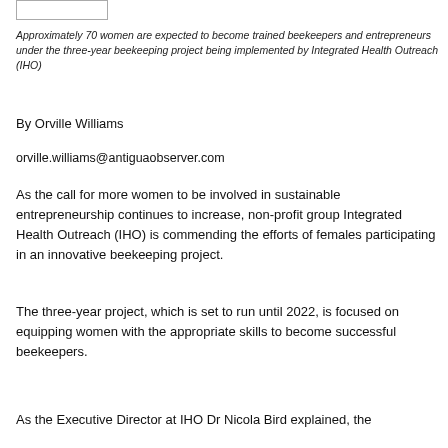[Figure (other): Small rectangular image placeholder at top left]
Approximately 70 women are expected to become trained beekeepers and entrepreneurs under the three-year beekeeping project being implemented by Integrated Health Outreach (IHO)
By Orville Williams
orville.williams@antiguaobserver.com
As the call for more women to be involved in sustainable entrepreneurship continues to increase, non-profit group Integrated Health Outreach (IHO) is commending the efforts of females participating in an innovative beekeeping project.
The three-year project, which is set to run until 2022, is focused on equipping women with the appropriate skills to become successful beekeepers.
As the Executive Director at IHO Dr Nicola Bird explained, the